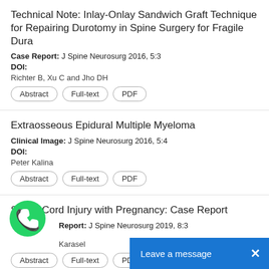Technical Note: Inlay-Onlay Sandwich Graft Technique for Repairing Durotomy in Spine Surgery for Fragile Dura
Case Report: J Spine Neurosurg 2016, 5:3
DOI:
Richter B, Xu C and Jho DH
Extraosseous Epidural Multiple Myeloma
Clinical Image: J Spine Neurosurg 2016, 5:4
DOI:
Peter Kalina
Spinal Cord Injury with Pregnancy: Case Report
Report: J Spine Neurosurg 2019, 8:3
Karasel
[Figure (logo): WhatsApp green phone bubble icon]
Leave a message  X